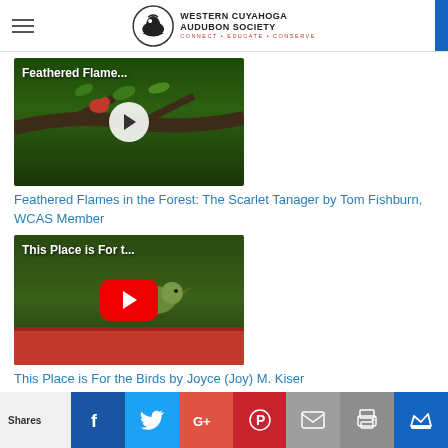Western Cuyahoga Audubon Society — CONNECT • EDUCATE • CONSERVE
[Figure (screenshot): Video thumbnail: Feathered Flame... bird video with play button]
Feathered Flames in the Forest: The Scarlet Tanager by Tom Fishburn, WCAS Member
[Figure (screenshot): YouTube video thumbnail: This Place is For t... with red YouTube play button, bird on red feeder]
This Place is For the Birds by Joyce (Joy) M. Kiser
[Figure (screenshot): Video thumbnail: partially visible, dark blue sky background]
Shares | Facebook | Twitter | Google+ | Pinterest | Email | Print | Crown